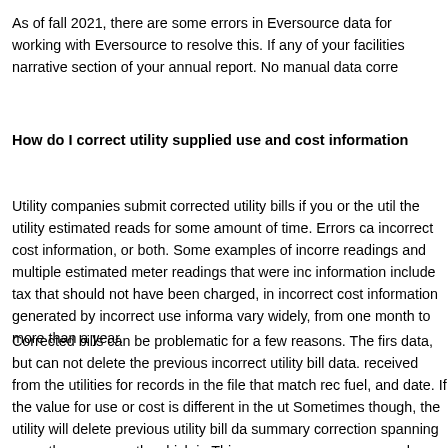As of fall 2021, there are some errors in Eversource data for working with Eversource to resolve this. If any of your facilities narrative section of your annual report. No manual data corre
How do I correct utility supplied use and cost information
Utility companies submit corrected utility bills if you or the util the utility estimated reads for some amount of time. Errors ca incorrect cost information, or both. Some examples of incorre readings and multiple estimated meter readings that were inc information include tax that should not have been charged, in incorrect cost information generated by incorrect use informa vary widely, from one month to more than a year.
Corrected bills can be problematic for a few reasons. The firs data, but can not delete the previous incorrect utility bill data. received from the utilities for records in the file that match rec fuel, and date. If the value for use or cost is different in the ut Sometimes though, the utility will delete previous utility bill da summary correction spanning more than one month, which in This can cause energy use and energy cost errors in MEI unl